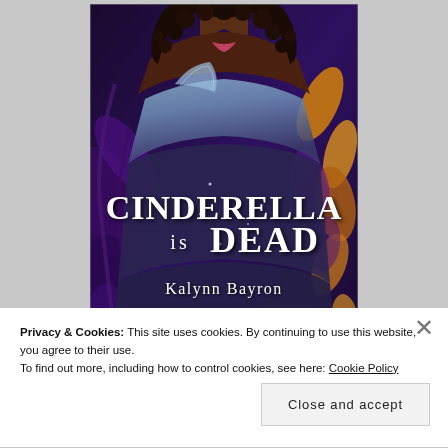[Figure (illustration): Book cover of 'Cinderella is Dead' by Kalynn Bayron, published by Bloomsbury. Features a Black woman in a blue off-shoulder ball gown surrounded by purple foliage and golden leaves. Large stylized white text reads 'CINDERELLA IS DEAD' with 'Kalynn Bayron' below in white script.]
Privacy & Cookies: This site uses cookies. By continuing to use this website, you agree to their use.
To find out more, including how to control cookies, see here: Cookie Policy